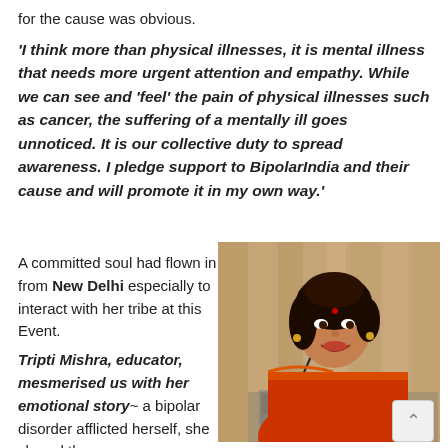for the cause was obvious.
'I think more than physical illnesses, it is mental illness that needs more urgent attention and empathy. While we can see and 'feel' the pain of physical illnesses such as cancer, the suffering of a mentally ill goes unnoticed. It is our collective duty to spread awareness. I pledge support to BipolarIndia and their cause and will promote it in my own way.'
A committed soul had flown in from New Delhi especially to interact with her tribe at this Event. Tripti Mishra, educator, mesmerised us with her emotional story~ a bipolar disorder afflicted herself, she shared the
[Figure (photo): A woman in a red and orange saree speaking at a podium with a microphone and laptop, smiling at the camera in what appears to be a conference or event setting.]